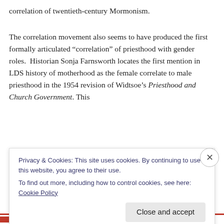correlation of twentieth-century Mormonism.
The correlation movement also seems to have produced the first formally articulated “correlation” of priesthood with gender roles.  Historian Sonja Farnsworth locates the first mention in LDS history of motherhood as the female correlate to male priesthood in the 1954 revision of Widtsoe’s Priesthood and Church Government. This
Privacy & Cookies: This site uses cookies. By continuing to use this website, you agree to their use.
To find out more, including how to control cookies, see here: Cookie Policy